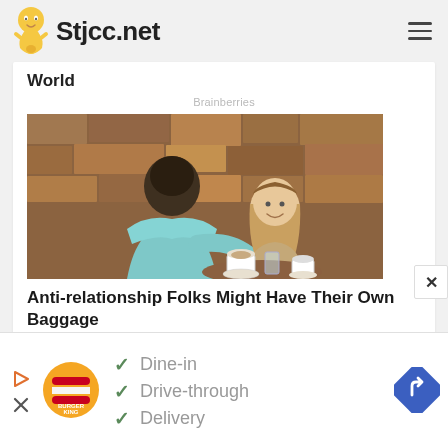Stjcc.net
World
Brainberries
[Figure (photo): A couple at an outdoor cafe; a man leaning toward a smiling woman, with coffee cups on the table and a stone wall background.]
Anti-relationship Folks Might Have Their Own Baggage
[Figure (infographic): Burger King advertisement showing logo with checklist: Dine-in, Drive-through, Delivery, and a navigation/turn icon.]